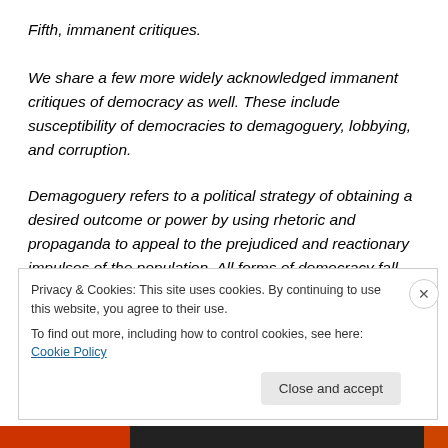Fifth, immanent critiques.
We share a few more widely acknowledged immanent critiques of democracy as well. These include susceptibility of democracies to demagoguery, lobbying, and corruption.
Demagoguery refers to a political strategy of obtaining a desired outcome or power by using rhetoric and propaganda to appeal to the prejudiced and reactionary impulses of the population. All forms of democracy fall
Privacy & Cookies: This site uses cookies. By continuing to use this website, you agree to their use.
To find out more, including how to control cookies, see here: Cookie Policy
Close and accept